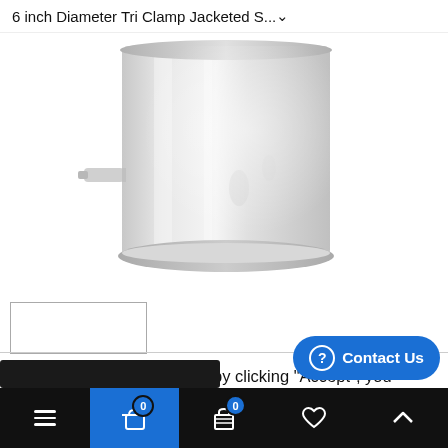6 inch Diameter Tri Clamp Jacketed S... ˅
[Figure (photo): Stainless steel jacketed pot/vessel with a side port fitting, viewed from above at an angle. The vessel is cylindrical with a reflective metallic surface.]
By continuing to browse or by clicking "Accept", you agree to the storing of cookies on your device to enhance your site experience and for analytical purposes. To learn more about cookies, please visit www.aboutcookies.org